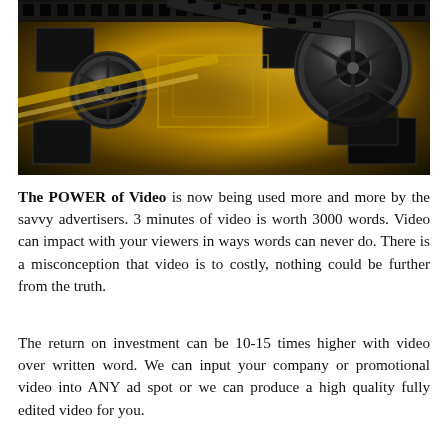[Figure (illustration): A golden-toned illustration showing film reels, film strip with perforations, a vintage movie projector/camera shape, and film frames on a dark background with golden diagonal streaks.]
The POWER of Video is now being used more and more by the savvy advertisers. 3 minutes of video is worth 3000 words. Video can impact with your viewers in ways words can never do. There is a misconception that video is to costly, nothing could be further from the truth.
The return on investment can be 10-15 times higher with video over written word. We can input your company or promotional video into ANY ad spot or we can produce a high quality fully edited video for you.